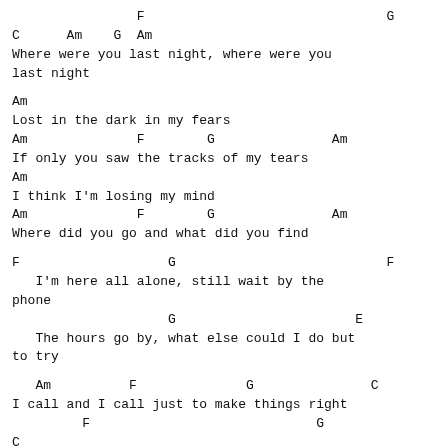F                               G
C      Am    G  Am
Where were you last night, where were you
last night
Am
Lost in the dark in my fears
Am              F        G               Am
If only you saw the tracks of my tears
Am
I think I'm losing my mind
Am              F        G               Am
Where did you go and what did you find
F                   G                           F
   I'm here all alone, still wait by the
phone
                    G                       E
   The hours go by, what else could I do but
to try
Am          F              G               C
I call and I call just to make things right
         F                             G
C
Have I lost the fight, where were you last
night
   Am          F              G       C
I beg and I cry, I keep asking why
                F                       G